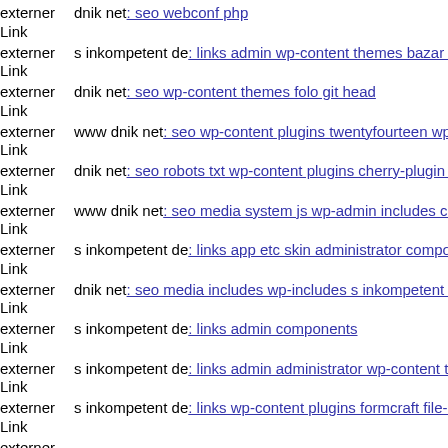externer Link  dnik net: seo webconf php
externer Link  s inkompetent de: links admin wp-content themes bazar the
externer Link  dnik net: seo wp-content themes folo git head
externer Link  www dnik net: seo wp-content plugins twentyfourteen wp-c
externer Link  dnik net: seo robots txt wp-content plugins cherry-plugin s
externer Link  www dnik net: seo media system js wp-admin includes com
externer Link  s inkompetent de: links app etc skin administrator compone
externer Link  dnik net: seo media includes wp-includes s inkompetent de
externer Link  s inkompetent de: links admin components
externer Link  s inkompetent de: links admin administrator wp-content the
externer Link  s inkompetent de: links wp-content plugins formcraft file-u
externer Link  ...